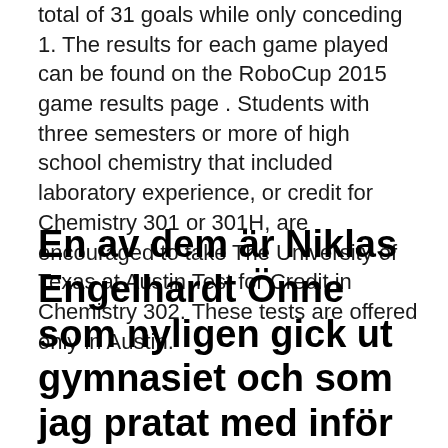total of 31 goals while only conceding 1. The results for each game played can be found on the RoboCup 2015 game results page . Students with three semesters or more of high school chemistry that included laboratory experience, or credit for Chemistry 301 or 301H, are encouraged to take The University of Texas at Austin Test for Credit in Chemistry 302. These tests are offered only in Austin.
En av dem är Niklas Engelhardt Önne som nyligen gick ut gymnasiet och som jag pratat med inför det här blogginlägget. Han lyckades ta